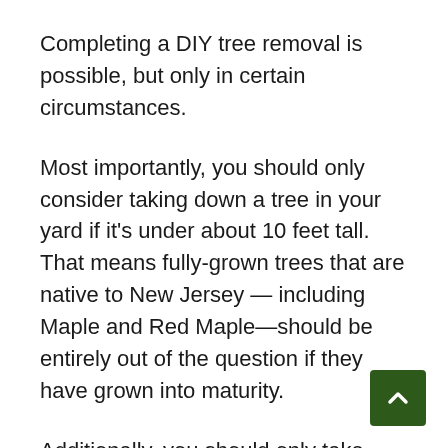Completing a DIY tree removal is possible, but only in certain circumstances.
Most importantly, you should only consider taking down a tree in your yard if it's under about 10 feet tall. That means fully-grown trees that are native to New Jersey — including Maple and Red Maple—should be entirely out of the question if they have grown into maturity.
Additionally, you should only take down a tree that is far enough away from all personal property. Controlling where a
[Figure (other): Dark green back-to-top button with upward-pointing chevron arrow in white, positioned in the bottom-right corner of the page.]